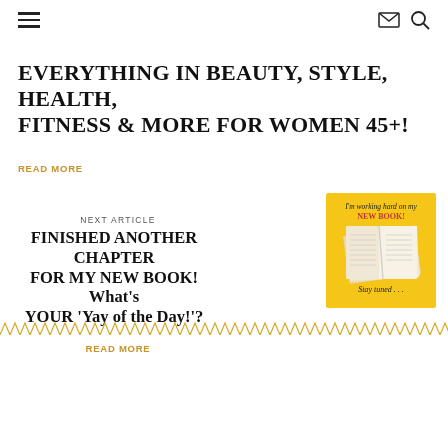☰  ✉  🔍
EVERYTHING IN BEAUTY, STYLE, HEALTH, FITNESS & MORE FOR WOMEN 45+!
READ MORE
NEXT ARTICLE
FINISHED ANOTHER CHAPTER FOR MY NEW BOOK! What's YOUR 'Yay of the Day!'?
[Figure (photo): Yellow background image of an open book with text 'I'm working hard on my NEW BOOK! Stay tuned...']
READ MORE